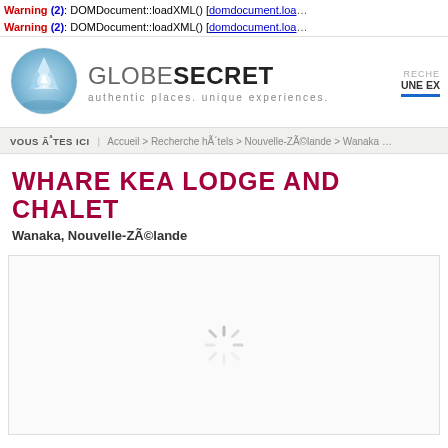Warning (2): DOMDocument::loadXML() [domdocument.loa...
Warning (2): DOMDocument::loadXML() [domdocument.loa...
[Figure (logo): GlobeSecret logo: circular globe icon with mountain/crystal design, text GLOBE SECRET, tagline: authentic places. unique experiences.]
RECHE UNE EX
VOUS ÊTES ICI | Accueil > Recherche hôtels > Nouvelle-Zélande > Wanaka...
WHARE KEA LODGE AND CHALET
Wanaka, Nouvelle-Zélande
[Figure (screenshot): Loading spinner (animated) in a white content box area]